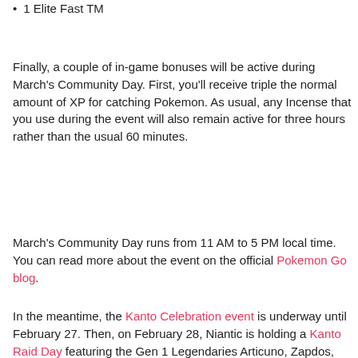1 Elite Fast TM
Finally, a couple of in-game bonuses will be active during March's Community Day. First, you'll receive triple the normal amount of XP for catching Pokemon. As usual, any Incense that you use during the event will also remain active for three hours rather than the usual 60 minutes.
March's Community Day runs from 11 AM to 5 PM local time. You can read more about the event on the official Pokemon Go blog.
In the meantime, the Kanto Celebration event is underway until February 27. Then, on February 28, Niantic is holding a Kanto Raid Day featuring the Gen 1 Legendaries Articuno, Zapdos, and Moltres.